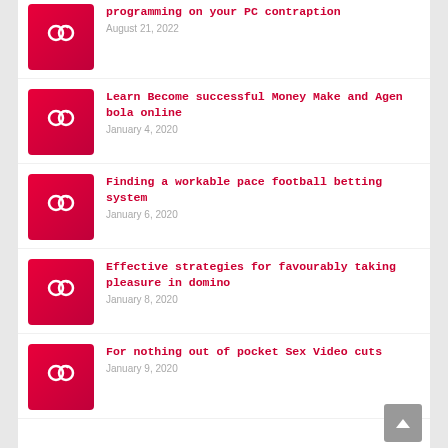programming on your PC contraption — August 21, 2022
Learn Become successful Money Make and Agen bola online — January 4, 2020
Finding a workable pace football betting system — January 6, 2020
Effective strategies for favourably taking pleasure in domino — January 8, 2020
For nothing out of pocket Sex Video cuts — January 9, 2020